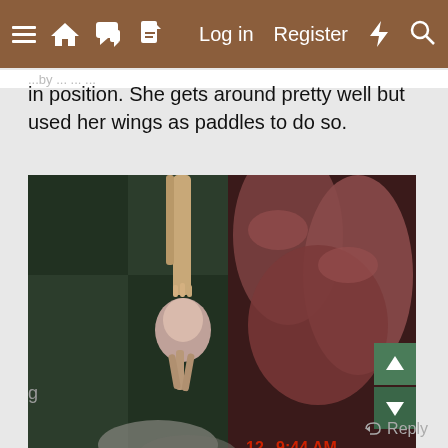≡  🏠  💬  📄    Log in    Register    ⚡    🔍
in position. She gets around pretty well but used her wings as paddles to do so.
[Figure (photo): Close-up photo of a person holding a bird's foot/leg. The bird appears to have an injured or swollen foot. The background shows a plaid green/grey blanket. A timestamp in red reads '12  9:44 AM' in the bottom right.]
g
Reply